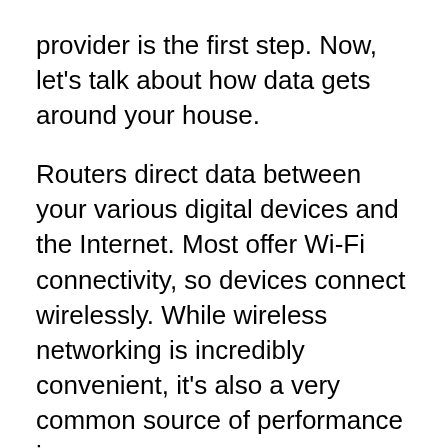provider is the first step. Now, let's talk about how data gets around your house.
Routers direct data between your various digital devices and the Internet. Most offer Wi-Fi connectivity, so devices connect wirelessly. While wireless networking is incredibly convenient, it's also a very common source of performance issues.